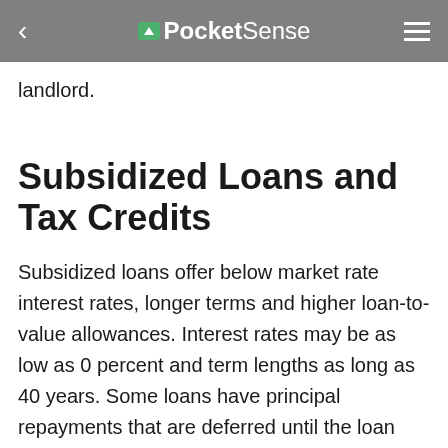PocketSense
landlord.
Subsidized Loans and Tax Credits
Subsidized loans offer below market rate interest rates, longer terms and higher loan-to-value allowances. Interest rates may be as low as 0 percent and term lengths as long as 40 years. Some loans have principal repayments that are deferred until the loan